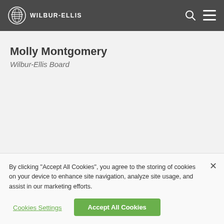WILBUR-ELLIS
Molly Montgomery
Wilbur-Ellis Board
By clicking “Accept All Cookies”, you agree to the storing of cookies on your device to enhance site navigation, analyze site usage, and assist in our marketing efforts.
Cookies Settings
Accept All Cookies